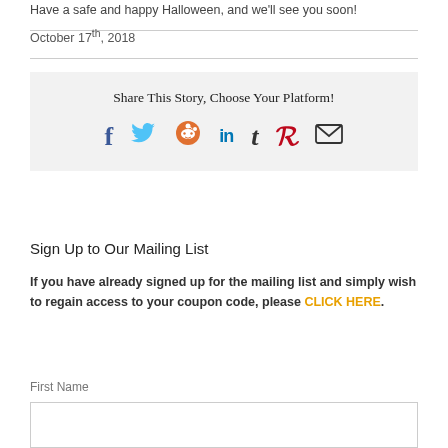Have a safe and happy Halloween, and we'll see you soon!
October 17th, 2018
[Figure (infographic): Share This Story, Choose Your Platform! with social media icons: Facebook (f), Twitter (bird), Reddit (alien), LinkedIn (in), Tumblr (t), Pinterest (p), Email (envelope)]
Sign Up to Our Mailing List
If you have already signed up for the mailing list and simply wish to regain access to your coupon code, please CLICK HERE.
First Name